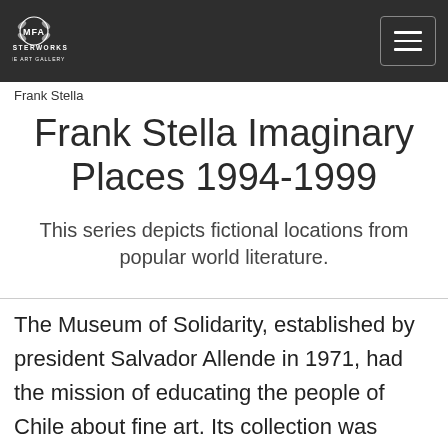MFA MASTERWORKS FINE ART GALLERY
Frank Stella
Frank Stella Imaginary Places 1994-1999
This series depicts fictional locations from popular world literature.
The Museum of Solidarity, established by president Salvador Allende in 1971, had the mission of educating the people of Chile about fine art. Its collection was amassed through donations from many internationally known